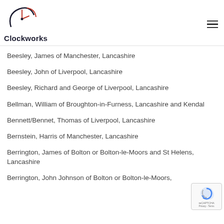Clockworks
Beesley, James of Manchester, Lancashire
Beesley, John of Liverpool, Lancashire
Beesley, Richard and George of Liverpool, Lancashire
Bellman, William of Broughton-in-Furness, Lancashire and Kendal
Bennett/Bennet, Thomas of Liverpool, Lancashire
Bernstein, Harris of Manchester, Lancashire
Berrington, James of Bolton or Bolton-le-Moors and St Helens, Lancashire
Berrington, John Johnson of Bolton or Bolton-le-Moors, Lancashire